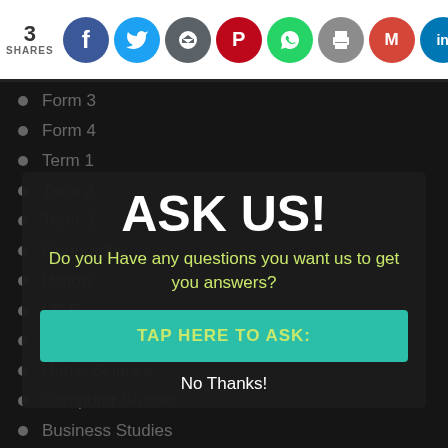3 SHARES — social share icons: Facebook, Twitter, Share, Pinterest, WhatsApp, Print, Gmail, LinkedIn, Google
Form 3
Form 4
Term 1
Term 2
Term 3
Geography
History
I.R.E
H.R.E
Home Science
Computer Studies
Business Studies
Agriculture
ASK US!
Do you Have any questions you want us to get you answers?
TAP HERE TO ASK:
No Thanks!